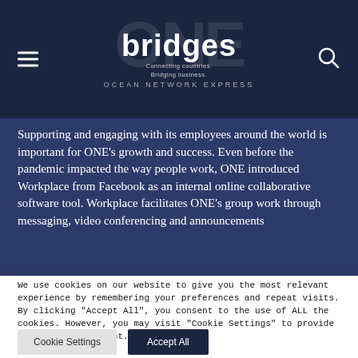bridges — Connecting countries. Bridging business. OCEAN NETWORK EXPRESS
Supporting and engaging with its employees around the world is important for ONE's growth and success. Even before the pandemic impacted the way people work, ONE introduced Workplace from Facebook as an internal online collaborative software tool. Workplace facilitates ONE's group work through messaging, video conferencing and announcements
We use cookies on our website to give you the most relevant experience by remembering your preferences and repeat visits. By clicking "Accept All", you consent to the use of ALL the cookies. However, you may visit "Cookie Settings" to provide a controlled consent.
Cookie Settings
Accept All